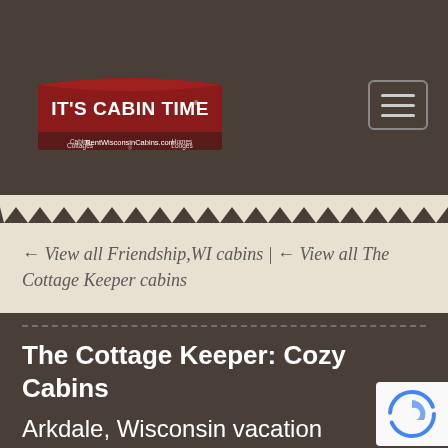[Figure (logo): It's Cabin Time logo with red banner and text 'RentWisconsinCabins.com', Cabins, Cottages, Homes, Lodges]
[Figure (other): Hamburger menu button with three horizontal bars]
← View all Friendship,WI cabins | ← View all The Cottage Keeper cabins
The Cottage Keeper: Cozy Cabins
Arkdale, Wisconsin vacation rental